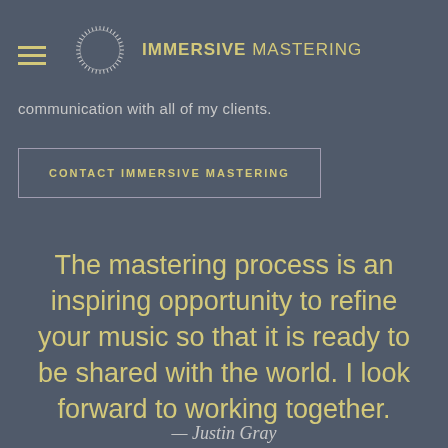IMMERSIVE MASTERING
communication with all of my clients.
CONTACT IMMERSIVE MASTERING
The mastering process is an inspiring opportunity to refine your music so that it is ready to be shared with the world. I look forward to working together.
— Justin Gray